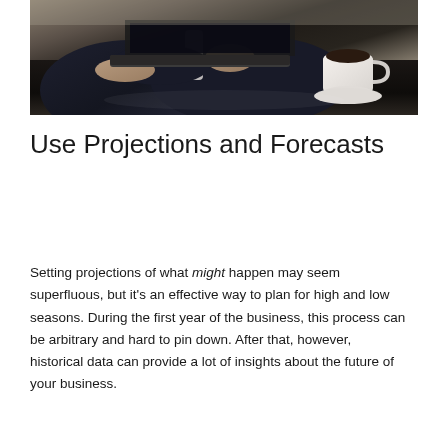[Figure (photo): A businessman in a suit working on a laptop at a dark desk, with a white espresso cup and saucer beside the laptop. The photo is cropped to show hands and upper torso.]
Use Projections and Forecasts
Setting projections of what might happen may seem superfluous, but it's an effective way to plan for high and low seasons. During the first year of the business, this process can be arbitrary and hard to pin down. After that, however, historical data can provide a lot of insights about the future of your business.